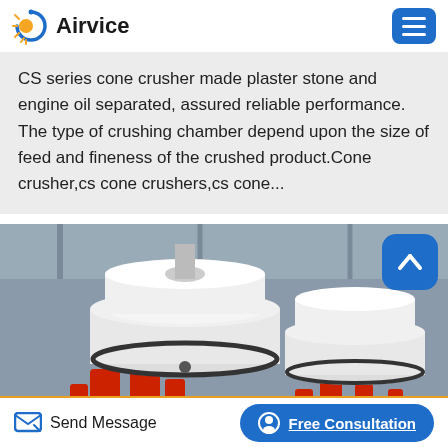Airvice
CS series cone crusher made plaster stone and engine oil separated, assured reliable performance. The type of crushing chamber depend upon the size of feed and fineness of the crushed product.Cone crusher,cs cone crushers,cs cone...
[Figure (photo): Industrial cone crushers with white cylindrical bodies and red hydraulic components, in a warehouse/factory setting]
Send Message
Free Consultation